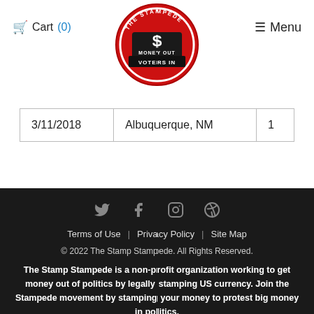Cart (0)   Menu
[Figure (logo): The Stamp Stampede circular logo — red circle with dollar sign and text 'MONEY OUT VOTERS IN']
| 3/11/2018 | Albuquerque, NM | 1 |
Terms of Use | Privacy Policy | Site Map
© 2022 The Stamp Stampede. All Rights Reserved.
The Stamp Stampede is a non-profit organization working to get money out of politics by legally stamping US currency. Join the Stampede movement by stamping your money to protest big money in politics.